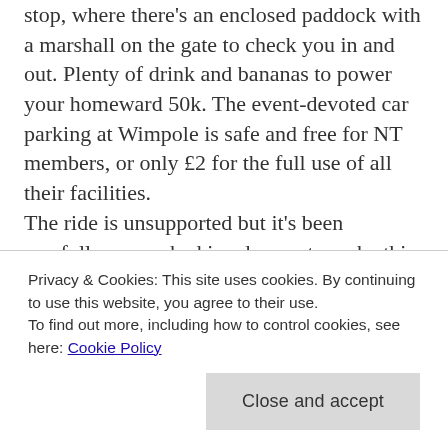stop, where there's an enclosed paddock with a marshall on the gate to check you in and out. Plenty of drink and bananas to power your homeward 50k. The event-devoted car parking at Wimpole is safe and free for NT members, or only £2 for the full use of all their facilities. The ride is unsupported but it's been carefully researched in advance to make this an enjoyable course that's all pleasant to ride and – important, this – it won't take you anywhere you shouldn't go. Of course we have an emergency plan that we won't enact if it's just a puncture or your chain's come off... it at a country pub or three.
Privacy & Cookies: This site uses cookies. By continuing to use this website, you agree to their use. To find out more, including how to control cookies, see here: Cookie Policy